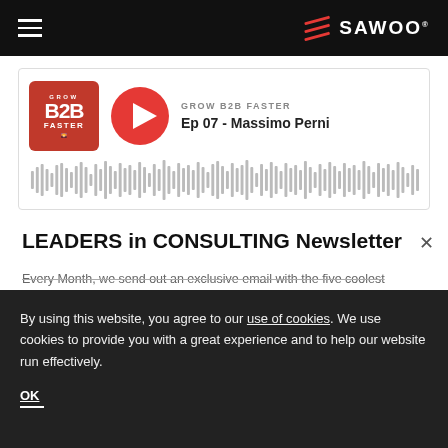SAWOO (navigation bar with hamburger menu and SAWOO logo)
[Figure (screenshot): Podcast player card for 'Grow B2B Faster' podcast, Episode 07 - Massimo Perni, showing podcast thumbnail, play button, show name, episode title, and audio waveform]
LEADERS in CONSULTING Newsletter
Every Month, we send out an exclusive email with the five coolest
By using this website, you agree to our use of cookies. We use cookies to provide you with a great experience and to help our website run effectively.
OK